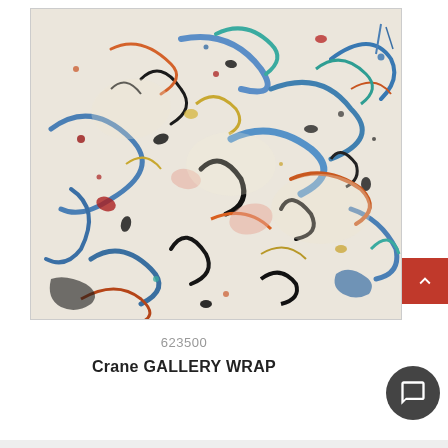[Figure (photo): Abstract expressionist painting resembling Jackson Pollock style — white canvas covered with drips, splatters, and swirls of blue, black, orange, red, yellow, and teal paint in chaotic overlapping patterns]
623500
Crane GALLERY WRAP